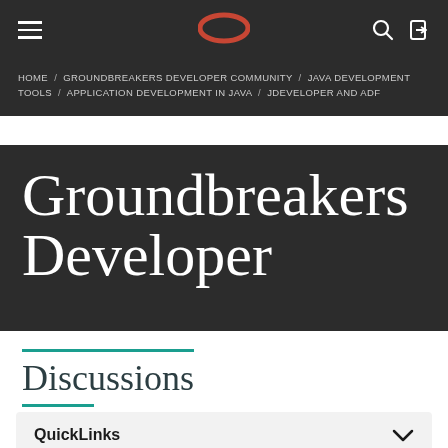HOME / GROUNDBREAKERS DEVELOPER COMMUNITY / JAVA DEVELOPMENT TOOLS / APPLICATION DEVELOPMENT IN JAVA / JDEVELOPER AND ADF
Groundbreakers Developer
Discussions
QuickLinks